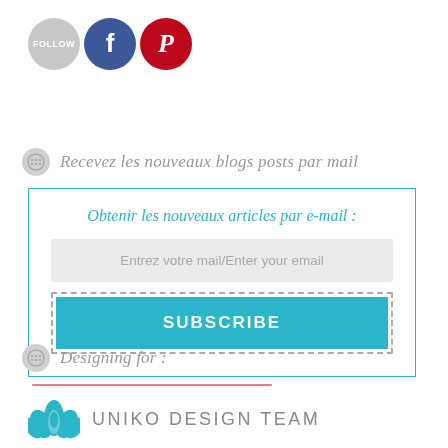[Figure (illustration): Social media icons row: grey FOLLOW circle button, Facebook blue circle, Pinterest red circle]
Recevez les nouveaux blogs posts par mail
[Figure (screenshot): Email subscription widget with teal border containing: italic teal heading 'Obtenir les nouveaux articles par e-mail :', grey email input field with placeholder 'Entrez votre mail/Enter your email', and a teal SUBSCRIBE button with dashed grey border]
Designing for :
[Figure (illustration): Uniko Design Team logo with teal floral/lotus icon and uppercase grey text 'UNIKO DESIGN TEAM']